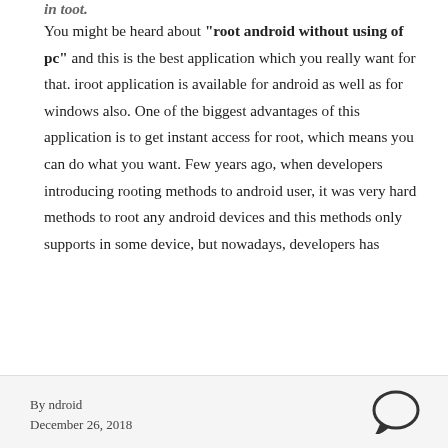You might be heard about "root android without using of pc" and this is the best application which you really want for that. iroot application is available for android as well as for windows also. One of the biggest advantages of this application is to get instant access for root, which means you can do what you want. Few years ago, when developers introducing rooting methods to android user, it was very hard methods to root any android devices and this methods only supports in some device, but nowadays, developers has
By ndroid
December 26, 2018